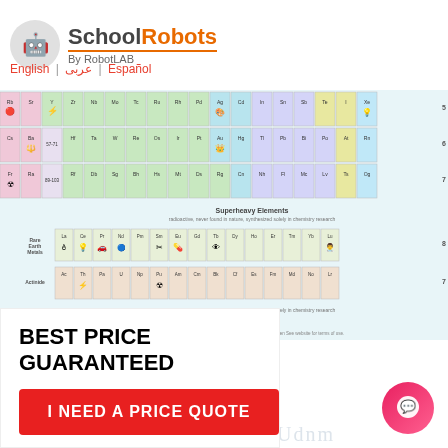[Figure (logo): School Robots by RobotLAB logo with robot head icon]
English | عربى | Español
[Figure (infographic): Illustrated periodic table of elements with icons for each element]
BEST PRICE GUARANTEED
I NEED A PRICE QUOTE
[Figure (illustration): Chat bubble button icon in pink/red gradient]